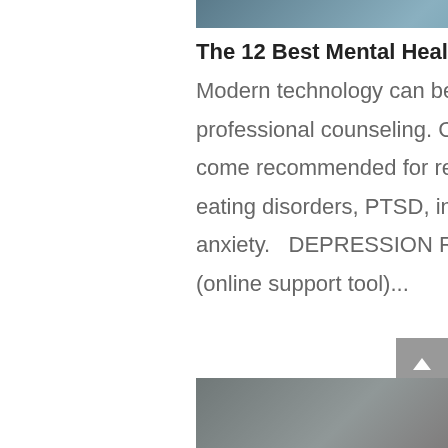[Figure (photo): Partial view of a person, cropped at top of page]
The 12 Best Mental Health Apps
Modern technology can be an amazing supplement to professional counseling. Check out these 12 Apps that come recommended for recovery from depression, eating disorders, PTSD, insomnia, and anxiety.   DEPRESSION RECOVERY APPS 1.    TalkLife (online support tool)...
[Figure (photo): Partial view of a person, cropped at bottom of page]